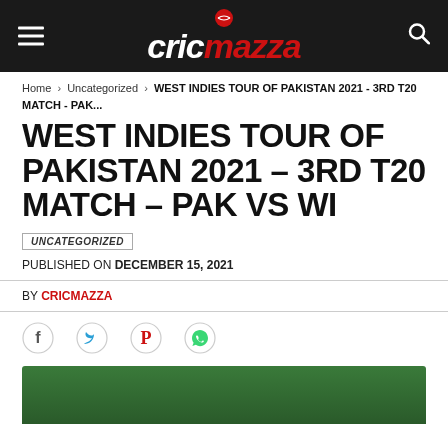cricmazza
Home › Uncategorized › WEST INDIES TOUR OF PAKISTAN 2021 - 3RD T20 MATCH - PAK...
WEST INDIES TOUR OF PAKISTAN 2021 – 3RD T20 MATCH – PAK VS WI
UNCATEGORIZED
PUBLISHED ON DECEMBER 15, 2021
BY CRICMAZZA
[Figure (infographic): Social share icons: Facebook, Twitter, Pinterest, WhatsApp]
[Figure (photo): Cricket match photo at the bottom of the page]